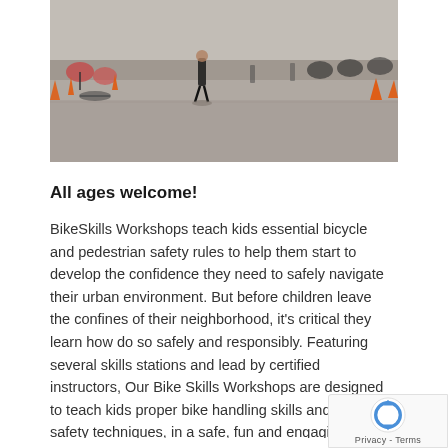[Figure (photo): Children riding bikes and pedestrians on a paved area with orange traffic cones, viewed from a distance. Bikes are arranged around the course area.]
All ages welcome!
BikeSkills Workshops teach kids essential bicycle and pedestrian safety rules to help them start to develop the confidence they need to safely navigate their urban environment. But before children leave the confines of their neighborhood, it's critical they learn how do so safely and responsibly. Featuring several skills stations and lead by certified instructors, Our Bike Skills Workshops are designed to teach kids proper bike handling skills and valuable safety techniques, in a safe, fun and engaging environment. From helmet fitting and bike inspections to turn signals and avoiding hazards, children – and their parents – learn important lessons to more safely and responsibly ride their bikes in an